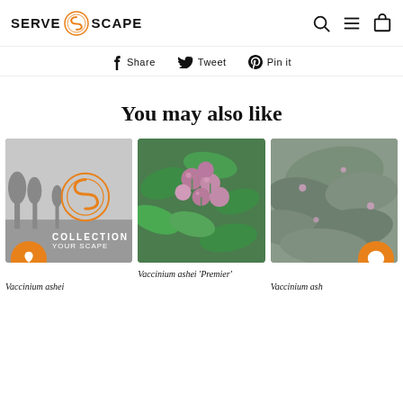[Figure (logo): ServeScape logo with orange S icon]
Share  Tweet  Pin it
You may also like
[Figure (photo): ServeScape collection placeholder image with logo, trees silhouette, and COLLECTION YOUR SCAPE overlay text]
[Figure (photo): Close-up photo of Vaccinium ashei Premier blueberry plant with pink berries and green leaves]
[Figure (photo): Partial photo of Vaccinium ash plant with grey-green foliage]
Vaccinium ashei
Vaccinium ashei 'Premier'
Vaccinium ash